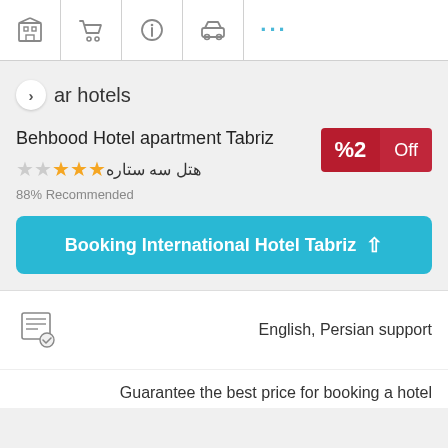Navigation bar with hotel, cart, info, car, and more icons
> ar hotels
Behbood Hotel apartment Tabriz
★★★☆☆ هتل سه ستاره
88% Recommended
%2 Off
Booking International Hotel Tabriz ↑
English, Persian support
Guarantee the best price for booking a hotel